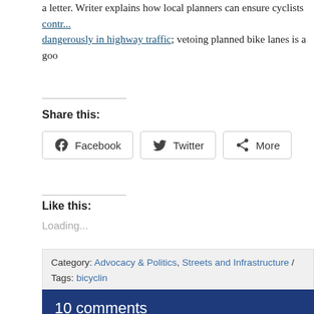a letter. Writer explains how local planners can ensure cyclists dangerously in highway traffic; vetoing planned bike lanes is a goo
Share this:
Facebook  Twitter  More
Like this:
Loading...
Category: Advocacy & Politics, Streets and Infrastructure / Tags: bicyclin Paul Koretz, Westwood Blvd bike lanes
10 comments